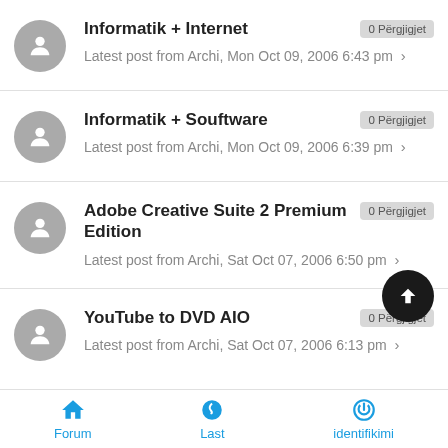Informatik + Internet
0 Përgjigjet
Latest post from Archi, Mon Oct 09, 2006 6:43 pm
Informatik + Souftware
0 Përgjigjet
Latest post from Archi, Mon Oct 09, 2006 6:39 pm
Adobe Creative Suite 2 Premium Edition
0 Përgjigjet
Latest post from Archi, Sat Oct 07, 2006 6:50 pm
YouTube to DVD AIO
0 Përgjigjet
Latest post from Archi, Sat Oct 07, 2006 6:13 pm
Forum  Last  identifikimi